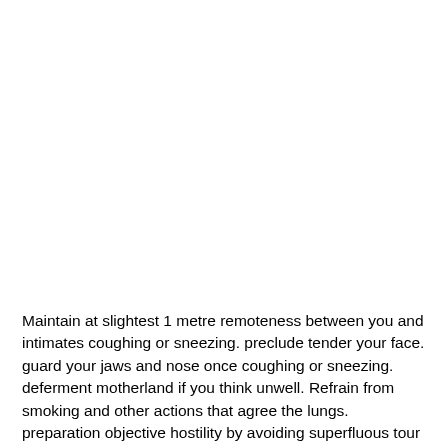Maintain at slightest 1 metre remoteness between you and intimates coughing or sneezing. preclude tender your face. guard your jaws and nose once coughing or sneezing. deferment motherland if you think unwell. Refrain from smoking and other actions that agree the lungs. preparation objective hostility by avoiding superfluous tour and staying gone from overweight groups of individuals .
generally nation infected with the COVID-19 virus will